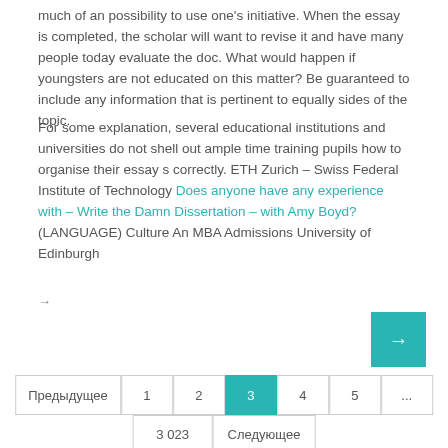much of an possibility to use one’s initiative. When the essay is completed, the scholar will want to revise it and have many people today evaluate the doc. What would happen if youngsters are not educated on this matter? Be guaranteed to include any information that is pertinent to equally sides of the topic.
For some explanation, several educational institutions and universities do not shell out ample time training pupils how to organise their essay s correctly. ETH Zurich – Swiss Federal Institute of Technology Does anyone have any experience with – Write the Damn Dissertation – with Amy Boyd? (LANGUAGE) Culture An MBA Admissions University of Edinburgh
→
→
Предыдущее 1 2 3 4 5 ...
3 023 Следующее